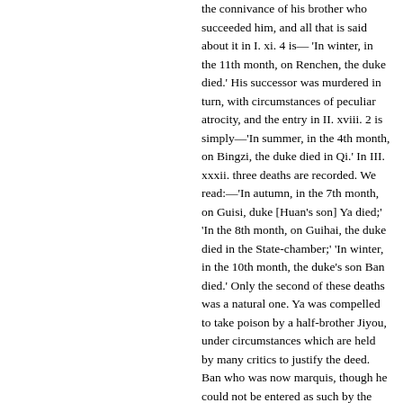the connivance of his brother who succeeded him, and all that is said about it in I. xi. 4 is— 'In winter, in the 11th month, on Renchen, the duke died.' His successor was murdered in turn, with circumstances of peculiar atrocity, and the entry in II. xviii. 2 is simply—'In summer, in the 4th month, on Bingzi, the duke died in Qi.' In III. xxxii. three deaths are recorded. We read:—'In autumn, in the 7th month, on Guisi, duke [Huan's son] Ya died;' 'In the 8th month, on Guihai, the duke died in the State-chamber;' 'In winter, in the 10th month, the duke's son Ban died.' Only the second of these deaths was a natural one. Ya was compelled to take poison by a half-brother Jiyou, under circumstances which are held by many critics to justify the deed. Ban who was now marquis, though he could not be entered as such by the historiographers till the year had elapsed, was murdered by an uncle, who wished to seize the marquisate